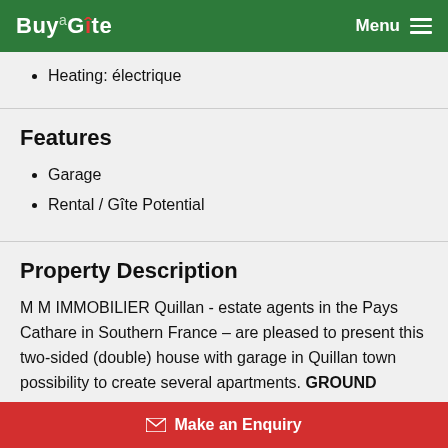BuyaGite — Menu
Heating: électrique
Features
Garage
Rental / Gîte Potential
Property Description
M M IMMOBILIER Quillan - estate agents in the Pays Cathare in Southern France – are pleased to present this two-sided (double) house with garage in Quillan town center with small terrace possibility to create several apartments. GROUND
Make an Enquiry